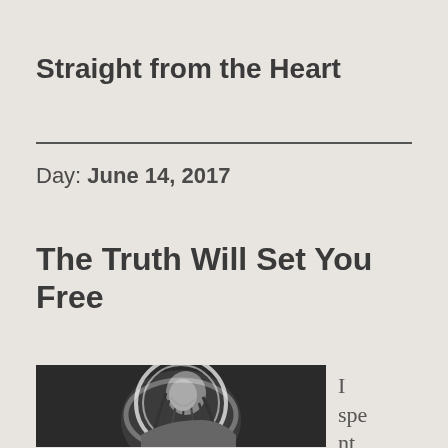Straight from the Heart
Day: June 14, 2017
The Truth Will Set You Free
[Figure (illustration): Black and white illustration of a person with long dark hair, head bowed, glowing white outline around the figure against a dark background]
I spent